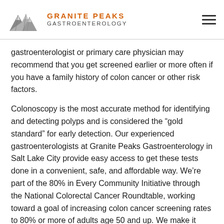Granite Peaks Gastroenterology
gastroenterologist or primary care physician may recommend that you get screened earlier or more often if you have a family history of colon cancer or other risk factors.
Colonoscopy is the most accurate method for identifying and detecting polyps and is considered the “gold standard” for early detection. Our experienced gastroenterologists at Granite Peaks Gastroenterology in Salt Lake City provide easy access to get these tests done in a convenient, safe, and affordable way. We’re part of the 80% in Every Community Initiative through the National Colorectal Cancer Roundtable, working toward a goal of increasing colon cancer screening rates to 80% or more of adults age 50 and up. We make it easy and convenient to get screened for colon cancer so you can get this critical and